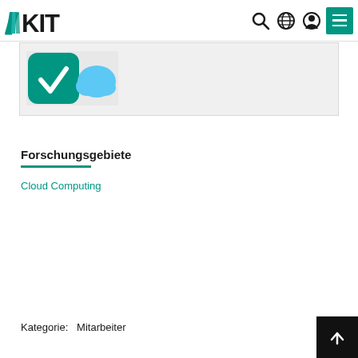KIT navigation bar with logo and icons
[Figure (screenshot): KIT website screenshot showing top navigation bar with KIT logo, search, globe, user, and menu icons, plus a partial card with a green/blue app icon on gray background]
Forschungsgebiete
Cloud Computing
Kategorie:   Mitarbeiter